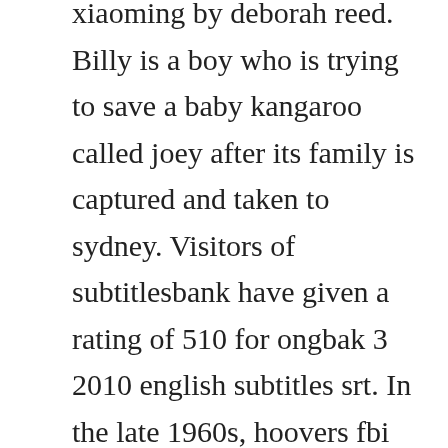xiaoming by deborah reed. Billy is a boy who is trying to save a baby kangaroo called joey after its family is captured and taken to sydney. Visitors of subtitlesbank have given a rating of 510 for ongbak 3 2010 english subtitles srt. In the late 1960s, hoovers fbi targeted her because of her political and romantic involvement with civil rights activist hakim jamal. When the head of a statue sacred to a village is stolen, a young martial artist goes to the big city and finds himself taking on the underworld to retrieve it. All subtitles